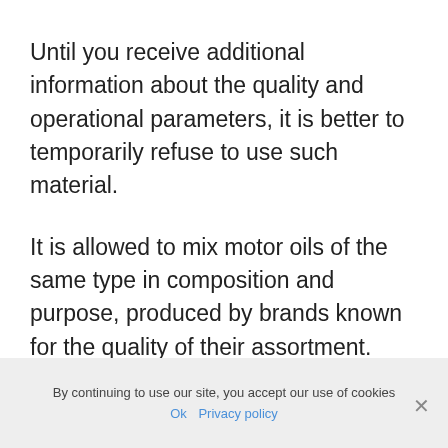Until you receive additional information about the quality and operational parameters, it is better to temporarily refuse to use such material.
It is allowed to mix motor oils of the same type in composition and purpose, produced by brands known for the quality of their assortment. Under no circumstances is it allowed to mix mineral and synthetic oils.
By continuing to use our site, you accept our use of cookies  Ok  Privacy policy